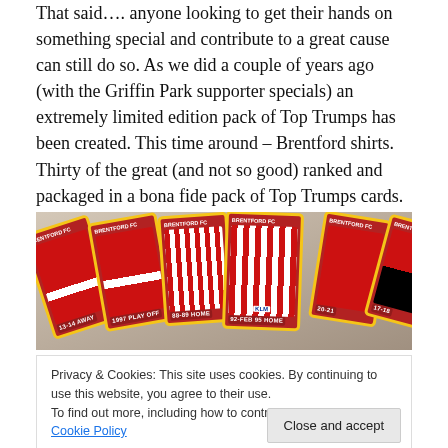That said…. anyone looking to get their hands on something special and contribute to a great cause can still do so. As we did a couple of years ago (with the Griffin Park supporter specials) an extremely limited edition pack of Top Trumps has been created. This time around – Brentford shirts. Thirty of the great (and not so good) ranked and packaged in a bona fide pack of Top Trumps cards.
[Figure (photo): Photo of a fan of Brentford FC Top Trumps cards spread out, showing red cards with yellow borders, labeled with shirt eras such as '13-14 AWAY', '1997 PLAY OFF', '88-89 HOME', '92-FEB 95 HOME', '20-21', '17-18']
Privacy & Cookies: This site uses cookies. By continuing to use this website, you agree to their use.
To find out more, including how to control cookies, see here: Cookie Policy
[Figure (photo): Partial photo visible at bottom of page showing more Top Trumps cards]